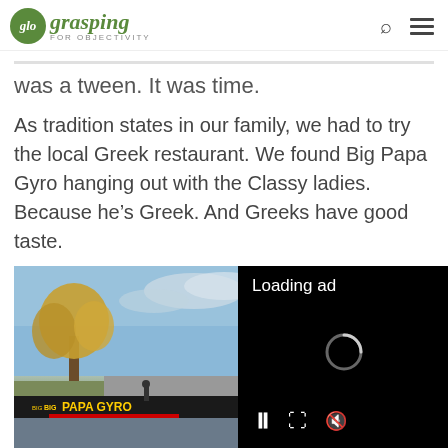glo grasping FOR OBJECTIVITY
was a tween. It was time.
As tradition states in our family, we had to try the local Greek restaurant. We found Big Papa Gyro hanging out with the Classy ladies. Because he's Greek. And Greeks have good taste.
[Figure (photo): Photo of Big Papa Gyro restaurant exterior with a tree and cloudy sky, overlaid with a black video ad player showing 'Loading ad' with a spinner and playback controls (pause, fullscreen, mute).]